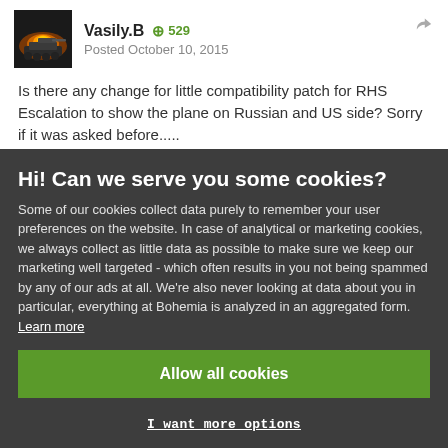Vasily.B  529  Posted October 10, 2015
Is there any change for little compatibility patch for RHS Escalation to show the plane on Russian and US side? Sorry if it was asked before.....
Hi! Can we serve you some cookies?
Some of our cookies collect data purely to remember your user preferences on the website. In case of analytical or marketing cookies, we always collect as little data as possible to make sure we keep our marketing well targeted - which often results in you not being spammed by any of our ads at all. We're also never looking at data about you in particular, everything at Bohemia is analyzed in an aggregated form. Learn more
Allow all cookies
I want more options